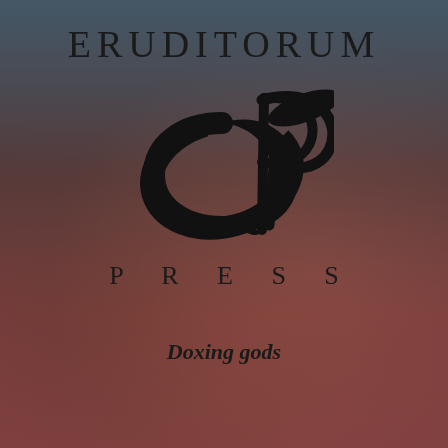[Figure (logo): Eruditorum Press logo page with stylized 'EP' calligraphic monogram logo on a dark reddish-brown background with faint classical figures]
ERUDITORUM
P R E S S
Doxing gods